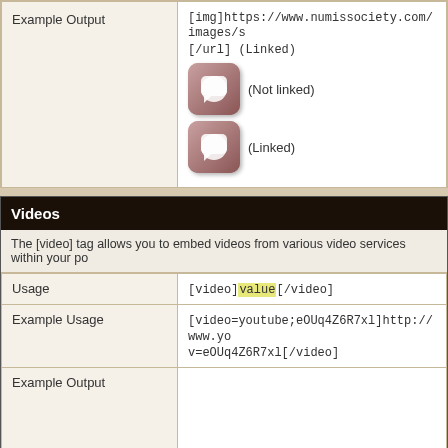|  |  |
| --- | --- |
| Example Output | [img]https://www.numissociety.com/images/s...[/url] (Linked)
(Not linked) (Linked) |
| Videos |  |
| --- | --- |
|  | The [video] tag allows you to embed videos from various video services within your po |
| Usage | [video]value[/video] |
| Example Usage | [video=youtube;eOUq4Z6R7xl]http://www.yo...v=eOUq4Z6R7xl[/video] |
| Example Output |  |